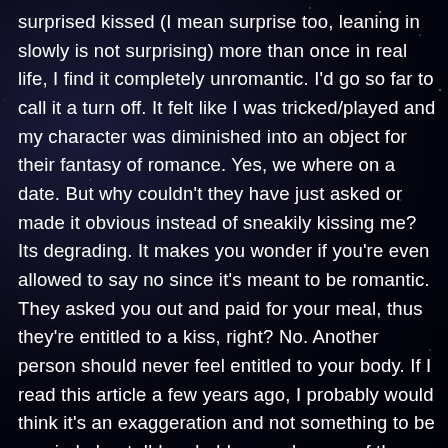surprised kissed (I mean surprise too, leaning in slowly is not surprising) more than once in real life, I find it completely unromantic. I'd go so far to call it a turn off. It felt like I was tricked/played and my character was diminished into an object for their fantasy of romance. Yes, we where on a date. But why couldn't they have just asked or made it obvious instead of sneakily kissing me? Its degrading. It makes you wonder if you're even allowed to say no since it's meant to be romantic. They asked you out and paid for your meal, thus they're entitled to a kiss, right? No. Another person should never feel entitled to your body. If I read this article a few years ago, I probably would think it's an exaggeration and not something to be worried about. I'd probably even be one of those people wh